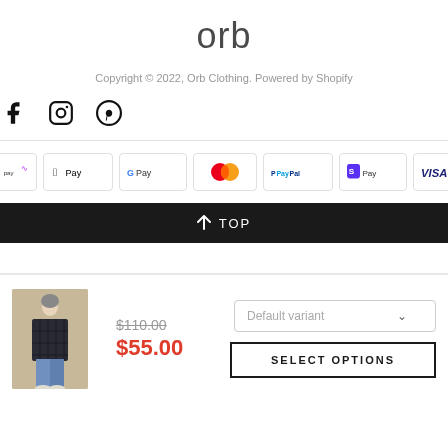orb
Copyright © 2022, Orb Clothing. Powered by Shopify
[Figure (illustration): Social media icons: Facebook, Instagram, Pinterest]
[Figure (illustration): Payment method badges: Afterpay, Apple Pay, Google Pay, Mastercard, PayPal, Shop Pay, Visa]
↑ TOP
[Figure (photo): Person wearing a dark plaid coat with jeans]
$110.00
$55.00
Default variant
SELECT OPTIONS